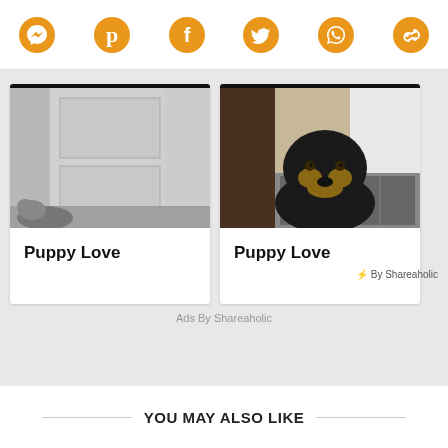Social sharing icons: Messenger, Pinterest, Facebook, Twitter, WhatsApp, Shareaholic
[Figure (photo): Card with dog photo near door labeled Puppy Love]
[Figure (photo): Card with Rottweiler dog photo labeled Puppy Love]
By Shareaholic
Ads By Shareaholic
YOU MAY ALSO LIKE